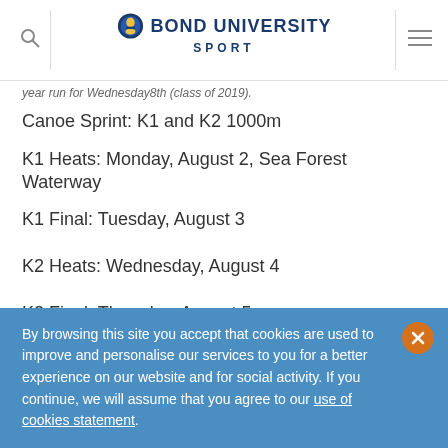Bond University Sport
year run for Wednesday8th (class of 2019).
Canoe Sprint: K1 and K2 1000m
K1 Heats: Monday, August 2, Sea Forest Waterway
K1 Final: Tuesday, August 3
K2 Heats: Wednesday, August 4
K2 Final: Thursday, August 5
By browsing this site you accept that cookies are used to improve and personalise our services to you for a better experience on our website and for social activity. If you continue, we will assume that you agree to our use of cookies statement.